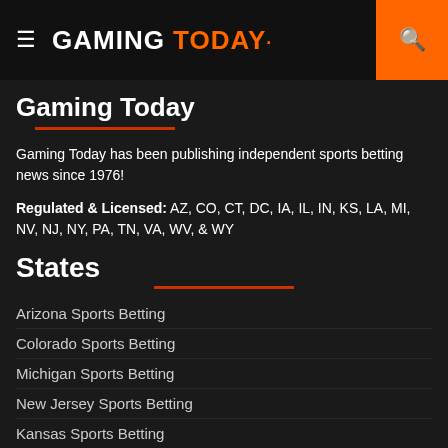Gaming Today
Gaming Today
Gaming Today has been publishing independent sports betting news since 1976!
Regulated & Licensed: AZ, CO, CT, DC, IA, IL, IN, KS, LA, MI, NV, NJ, NY, PA, TN, VA, WV, & WY
States
Arizona Sports Betting
Colorado Sports Betting
Michigan Sports Betting
New Jersey Sports Betting
Kansas Sports Betting
Massachusetts Sports Betting
States